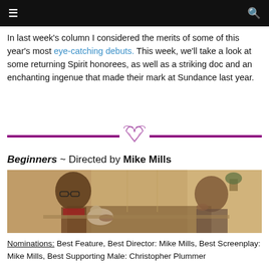☰  [navigation header]  🔍
In last week's column I considered the merits of some of this year's most eye-catching debuts. This week, we'll take a look at some returning Spirit honorees, as well as a striking doc and an enchanting ingenue that made their mark at Sundance last year.
[Figure (illustration): Purple horizontal divider line with a stylized bird/heart illustration in the center]
Beginners ~ Directed by Mike Mills
[Figure (photo): Film still from Beginners showing two men seated at a table, one older bald man with glasses holding a dog, one younger man with his hand on his chin, warm sepia tones, indoor setting near windows]
Nominations: Best Feature, Best Director: Mike Mills, Best Screenplay: Mike Mills, Best Supporting Male: Christopher Plummer